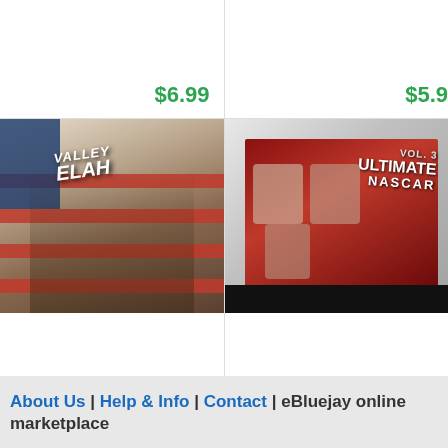$6.99
$5.9...
[Figure (photo): DVD case for 'In The Valley of Elah' placed on a surface with an American flag design background]
[Figure (photo): DVD case for 'ESPN Ultimate Nascar' placed on a surface with mail/envelopes]
In The Valley of Ela...
ESPN Ultimate Nascar...
$5.99
$9.9...
About Us | Help & Info | Contact | eBluejay online marketplace